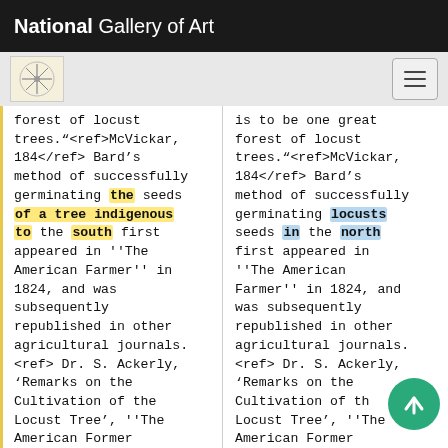National Gallery of Art
forest of locust trees.“<ref>McVickar, 184</ref> Bard’s method of successfully germinating the seeds of a tree indigenous to the south first appeared in ''The American Farmer'' in 1824, and was subsequently republished in other agricultural journals. <ref> Dr. S. Ackerly, ‘Remarks on the Cultivation of the Locust Tree’, ''The American Former
is to be one great forest of locust trees.“<ref>McVickar, 184</ref> Bard’s method of successfully germinating locusts seeds in the north first appeared in ''The American Farmer'' in 1824, and was subsequently republished in other agricultural journals. <ref> Dr. S. Ackerly, ‘Remarks on the Cultivation of the Locust Tree’, ''The American Former